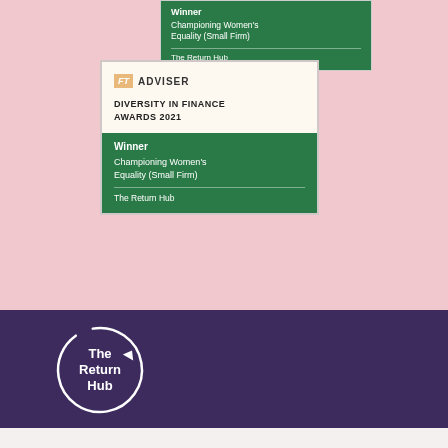[Figure (illustration): Partial FT Adviser Diversity in Finance Awards 2021 winner card (cropped at top), showing green section with 'Winner', 'Championing Women's Equality (Small Firm)', and 'The Return Hub']
[Figure (illustration): Full FT Adviser Diversity in Finance Awards 2021 winner card on pink background, showing FT Adviser logo, 'DIVERSITY IN FINANCE AWARDS 2021' title, and green section with 'Winner', 'Championing Women's Equality (Small Firm)', 'The Return Hub']
[Figure (logo): The Return Hub logo — circular arrow icon with 'The Return Hub' text in white on dark purple background]